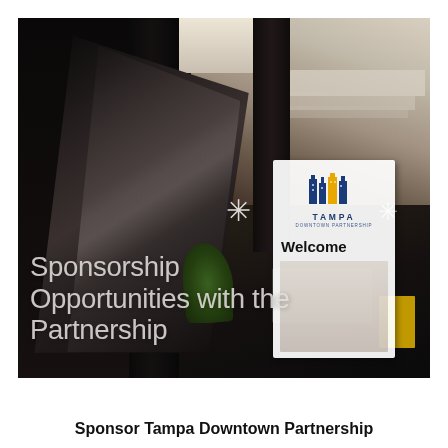[Figure (photo): Interior photo of Tampa Downtown Partnership office lobby showing an escalator on the left side, decorative star/sunburst hanging lights, tropical plants, and a white pull-up banner reading 'Welcome' with the Tampa Downtown Partnership logo. The image has a dark, moody color palette with the text 'Sponsorship Opportunities with the Partnership' overlaid in light gray.]
Sponsor Tampa Downtown Partnership